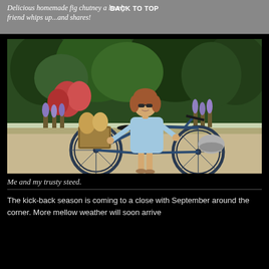Delicious homemade fig chutney a lovely friend whips up...and shares!
BACK TO TOP
[Figure (photo): A woman in a light blue dress and sunglasses standing next to a dark blue bicycle with a wicker basket on the rear rack containing straw bags. A bicycle helmet is attached to the front. Background shows green bushes, lavender plants, and pink flowering shrubs in a sunny garden setting.]
Me and my trusty steed.
The kick-back season is coming to a close with September around the corner. More mellow weather will soon arrive